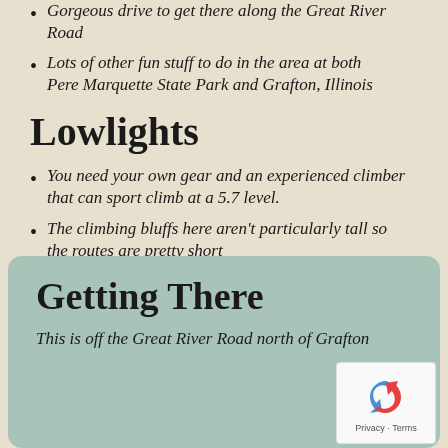Gorgeous drive to get there along the Great River Road
Lots of other fun stuff to do in the area at both Pere Marquette State Park and Grafton, Illinois
Lowlights
You need your own gear and an experienced climber that can sport climb at a 5.7 level.
The climbing bluffs here aren't particularly tall so the routes are pretty short
Getting There
This is off the Great River Road north of Grafton